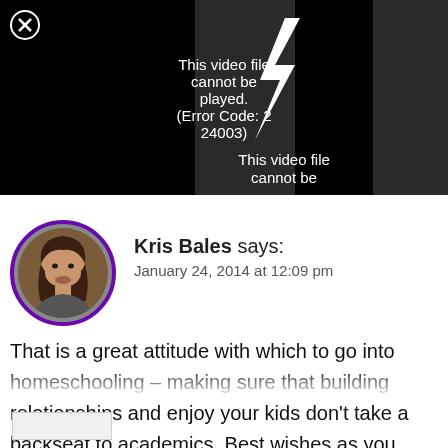[Figure (screenshot): Video player showing error: 'This video file cannot be played. (Error Code: 2 24003)' on a dark background with a close button (X in circle) at top left.]
Kris Bales says:
January 24, 2014 at 12:09 pm
That is a great attitude with which to go into homeschooling – making sure that building relationships and enjoy your kids don't take a backseat to academics. Best wishes as you make your decision.